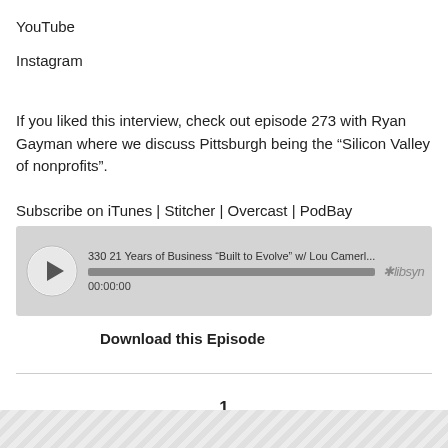YouTube
Instagram
If you liked this interview, check out episode 273 with Ryan Gayman where we discuss Pittsburgh being the “Silicon Valley of nonprofits”.
Subscribe on iTunes | Stitcher | Overcast | PodBay
[Figure (other): Libsyn audio player showing episode '330 21 Years of Business “Built to Evolve” w/ Lou Camerl...' with play button, progress bar, and timestamp 00:00:00]
Download this Episode
1